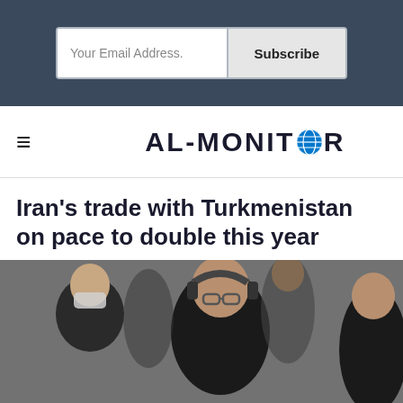Your Email Address. | Subscribe
[Figure (logo): AL-MONITOR logo with hamburger menu icon and globe icon replacing the O in MONITOR]
Iran’s trade with Turkmenistan on pace to double this year
[Figure (photo): Photo of men in suits at a conference table, one wearing a face mask, another with headphones and glasses looking down]